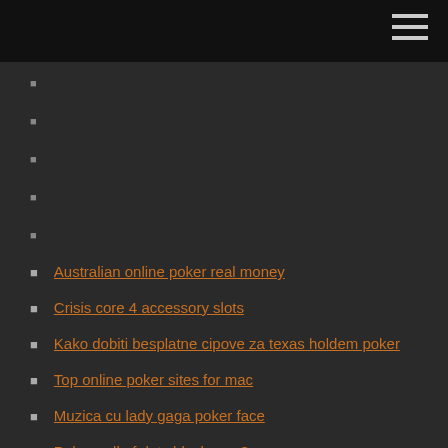Australian online poker real money
Crisis core 4 accessory slots
Kako dobiti besplatne cipove za texas holdem poker
Top online poker sites for mac
Muzica cu lady gaga poker face
Poker call of duty black ops 3
Fun games to play with friends online mac
Castiga bani din poker online
Banque casino fr espace client access